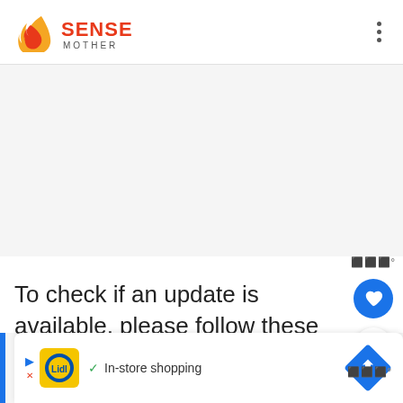SENSE MOTHER
To check if an update is available, please follow these steps:
[Figure (screenshot): Advertisement banner showing Lidl logo with text 'In-store shopping' and a navigation/directions icon]